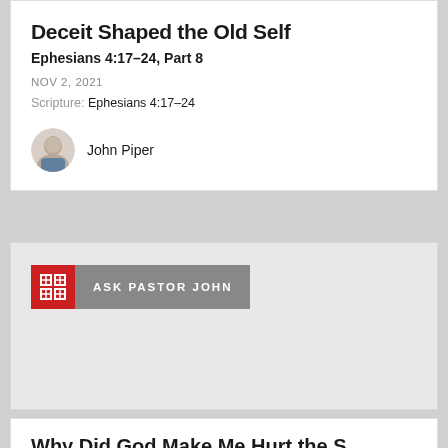Deceit Shaped the Old Self
Ephesians 4:17–24, Part 8
NOV 2, 2021
Scripture: Ephesians 4:17–24
John Piper
[Figure (logo): Ask Pastor John podcast badge with red icon and grey text bar]
Why Did God Make Me Hurt the S...